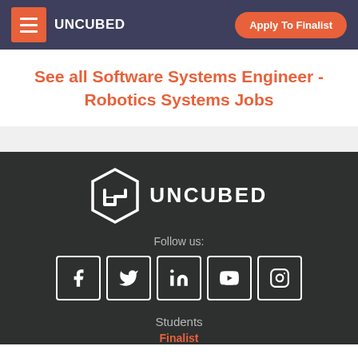UNCUBED | Apply To Finalist
See all Software Systems Engineer - Robotics Systems Jobs
[Figure (logo): Uncubed hexagon logo with 'UNCUBED' text in white on dark footer]
Follow us:
[Figure (infographic): Social media icons: Facebook, Twitter, LinkedIn, YouTube, Instagram]
Students
Finalist